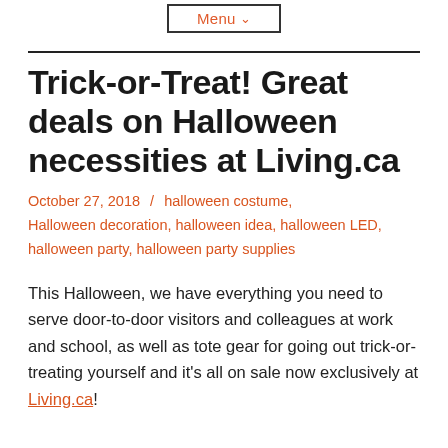Menu
Trick-or-Treat! Great deals on Halloween necessities at Living.ca
October 27, 2018 / halloween costume, Halloween decoration, halloween idea, halloween LED, halloween party, halloween party supplies
This Halloween, we have everything you need to serve door-to-door visitors and colleagues at work and school, as well as tote gear for going out trick-or-treating yourself and it’s all on sale now exclusively at Living.ca!